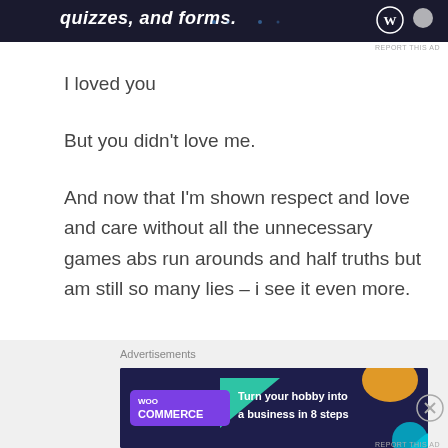[Figure (screenshot): Top advertisement banner with dark navy background, text 'quizzes, and forms.' with WordPress logo]
REPORT THIS AD
I loved you
But you didn't love me.
And now that I'm shown respect and love and care without all the unnecessary games abs run arounds and half truths but am still so many lies – i see it even more.
If you wanted me you would have had me. You would have treated me better like people do when
Advertisements
[Figure (screenshot): WooCommerce advertisement banner with dark purple/navy background, teal triangle, orange shape, WooCommerce logo, text 'Turn your hobby into a business in 8 steps']
REPORT THIS AD